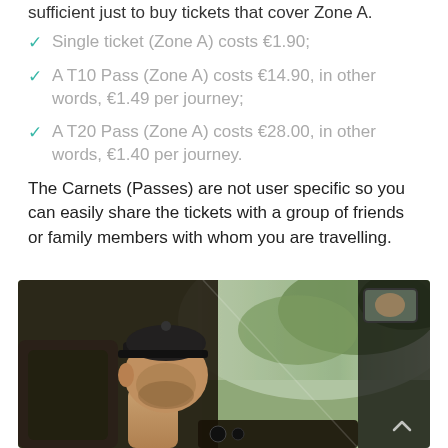sufficient just to buy tickets that cover Zone A.
Single ticket (Zone A) costs €1.90;
A T10 Pass (Zone A) costs €14.90, in other words, €1.49 per journey;
A T20 Pass (Zone A) costs €28.00, in other words, €1.40 per journey.
The Carnets (Passes) are not user specific so you can easily share the tickets with a group of friends or family members with whom you are travelling.
[Figure (photo): A bus or taxi driver wearing a cap viewed from the side inside a vehicle, with greenery visible through the windshield and a rearview mirror visible.]